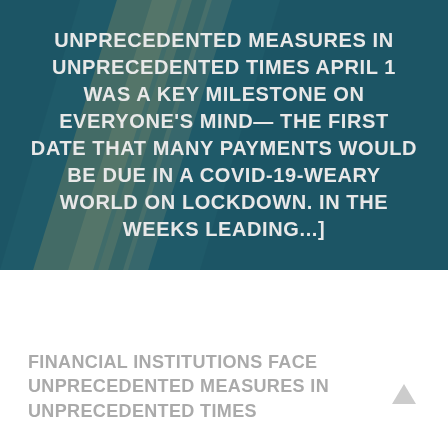[Figure (photo): Dark teal/blue-green background with abstract geometric shapes (credit card or currency-like diagonal stripes in gold/beige tones) with overlaid white uppercase text excerpt.]
UNPRECEDENTED MEASURES IN UNPRECEDENTED TIMES APRIL 1 WAS A KEY MILESTONE ON EVERYONE'S MIND— THE FIRST DATE THAT MANY PAYMENTS WOULD BE DUE IN A COVID-19-WEARY WORLD ON LOCKDOWN. IN THE WEEKS LEADING...]
FINANCIAL INSTITUTIONS FACE UNPRECEDENTED MEASURES IN UNPRECEDENTED TIMES